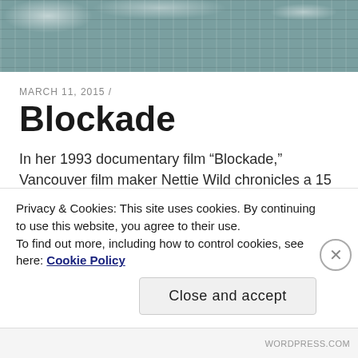[Figure (photo): Winter snow scene with trees and figures in the background, black and white or muted tones]
MARCH 11, 2015 /
Blockade
In her 1993 documentary film “Blockade,” Vancouver film maker Nettie Wild chronicles a 15 months period in 1992 when members of the Gitxsan Eagle Clan staged two blockades against clearcut logging operations on their traditional territory in so-called Northern British Columbia. (The full documentary is available on Youtube
Privacy & Cookies: This site uses cookies. By continuing to use this website, you agree to their use.
To find out more, including how to control cookies, see here: Cookie Policy
Close and accept